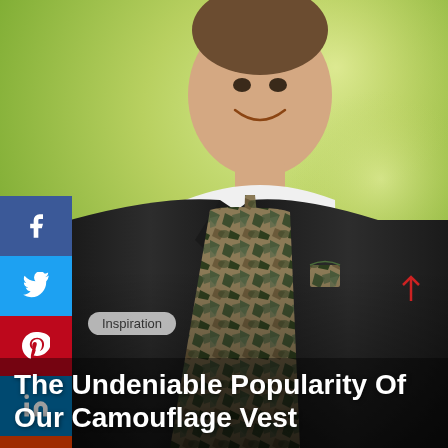[Figure (photo): A smiling man wearing a black tuxedo jacket with a camouflage vest and camouflage tie and pocket square, photographed against a blurred green/yellow bokeh background.]
[Figure (infographic): Social media sharing sidebar with buttons for Facebook, Twitter, Pinterest, LinkedIn, Reddit, Email, and Phone/RSS.]
Inspiration
The Undeniable Popularity Of Our Camouflage Vest